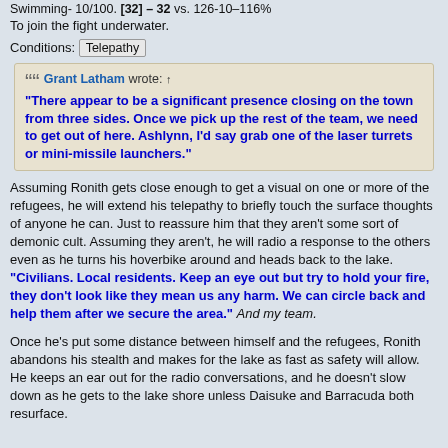Swimming- 10/100. [32] – 32 vs. 126-10–116%
To join the fight underwater.
Conditions: Telepathy
Grant Latham wrote: ↑
"There appear to be a significant presence closing on the town from three sides. Once we pick up the rest of the team, we need to get out of here. Ashlynn, I'd say grab one of the laser turrets or mini-missile launchers."
Assuming Ronith gets close enough to get a visual on one or more of the refugees, he will extend his telepathy to briefly touch the surface thoughts of anyone he can. Just to reassure him that they aren't some sort of demonic cult. Assuming they aren't, he will radio a response to the others even as he turns his hoverbike around and heads back to the lake. "Civilians. Local residents. Keep an eye out but try to hold your fire, they don't look like they mean us any harm. We can circle back and help them after we secure the area." And my team.
Once he's put some distance between himself and the refugees, Ronith abandons his stealth and makes for the lake as fast as safety will allow. He keeps an ear out for the radio conversations, and he doesn't slow down as he gets to the lake shore unless Daisuke and Barracuda both resurface.